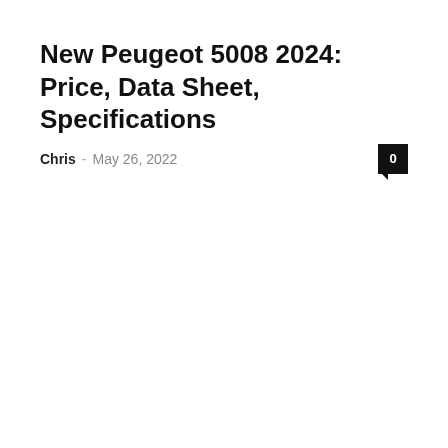New Peugeot 5008 2024: Price, Data Sheet, Specifications
Chris – May 26, 2022
New Hyundai Ioniq 5 2023: Price, Data Sheet, Specifications
Chris – May 26, 2022